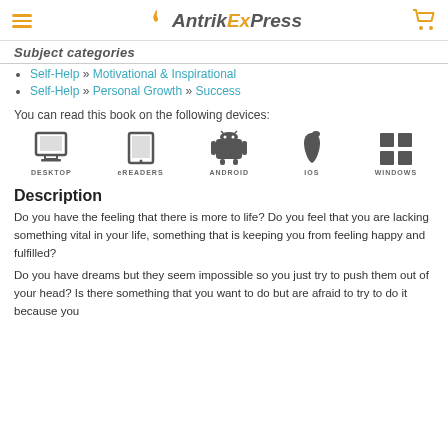Antrik ExPress
Subject categories
Self-Help » Motivational & Inspirational
Self-Help » Personal Growth » Success
You can read this book on the following devices:
[Figure (infographic): Five device type icons with labels: DESKTOP, eREADERS, ANDROID, IOS, WINDOWS]
Description
Do you have the feeling that there is more to life? Do you feel that you are lacking something vital in your life, something that is keeping you from feeling happy and fulfilled?
Do you have dreams but they seem impossible so you just try to push them out of your head? Is there something that you want to do but are afraid to try to do it because you